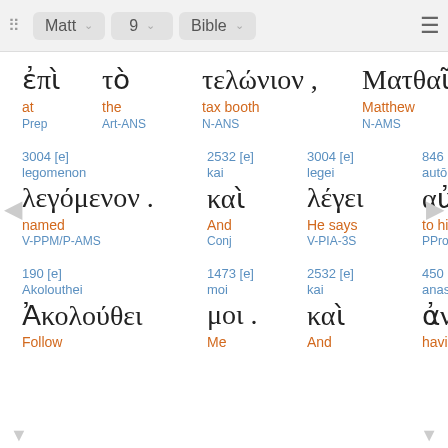Matt  9  Bible
| ἐπὶ | τὸ | τελώνιον , | Ματθαῖον |
| at | the | tax booth | Matthew |
| Prep | Art-ANS | N-ANS | N-AMS |
| 3004 [e] |  | 2532 [e] | 3004 [e] | 846 [e] |
| legomenon |  | kai | legei | autō |
| λεγόμενον . |  | καὶ | λέγει | αὐτῷ , |
| named |  | And | He says | to him |
| V-PPM/P-AMS |  | Conj | V-PIA-3S | PPro-DM3S |
| 190 [e] |  | 1473 [e] | 2532 [e] | 450 [e] |
| Akolouthei |  | moi | kai | anastas |
| Ἀκολούθει | μοι . |  | καὶ | ἀναστὰς , |
| Follow |  | Me | And | having arisen |